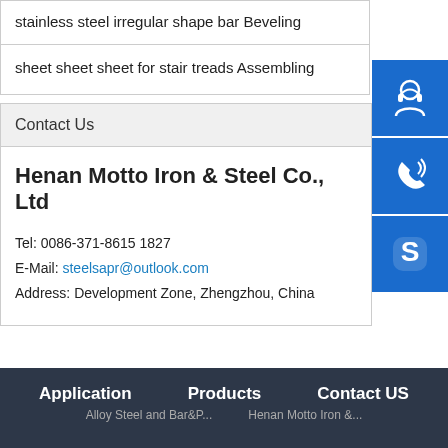stainless steel irregular shape bar Beveling
sheet sheet sheet for stair treads Assembling
Contact Us
Henan Motto Iron & Steel Co., Ltd
Tel: 0086-371-8615 1827
E-Mail: steelsapr@outlook.com
Address: Development Zone, Zhengzhou, China
[Figure (infographic): Three blue icon buttons on the right side: customer service headset icon, phone/call icon, Skype icon]
Application    Products    Contact US